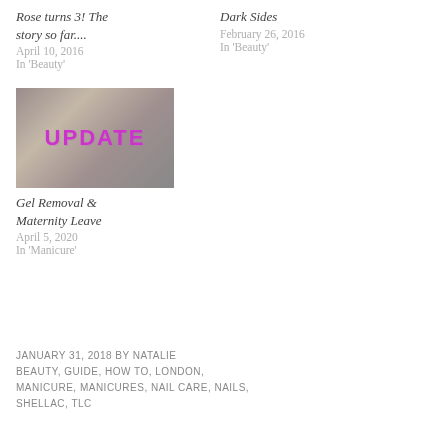Rose turns 3! The story so far....
April 10, 2016
In 'Beauty'
Dark Sides
February 26, 2016
In 'Beauty'
[Figure (photo): Photo of people with UPDATE text overlay in magenta/purple]
Gel Removal & Maternity Leave
April 5, 2020
In 'Manicure'
JANUARY 31, 2018 BY NATALIE
BEAUTY, GUIDE, HOW TO, LONDON, MANICURE, MANICURES, NAIL CARE, NAILS, SHELLAC, TLC